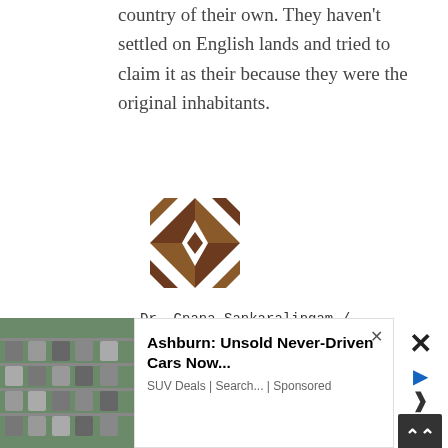country of their own. They haven't settled on English lands and tried to claim it as their because they were the original inhabitants.
[Figure (illustration): Geometric decorative avatar/icon: brown and white diamond/star quilt pattern]
Dr. Gnana Sankaralingam / October 20, 2017
[Figure (infographic): Thumbs up (green) vote button with count 4, thumbs down (red) vote button with count 1]
Shenali, do not be a racist. A
Search for
[Figure (photo): Aerial view of a parking lot filled with cars]
Ashburn: Unsold Never-Driven Cars Now... SUV Deals | Search... | Sponsored